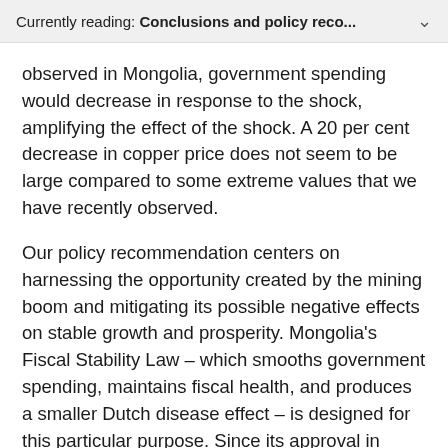Currently reading: Conclusions and policy reco...
observed in Mongolia, government spending would decrease in response to the shock, amplifying the effect of the shock. A 20 per cent decrease in copper price does not seem to be large compared to some extreme values that we have recently observed.
Our policy recommendation centers on harnessing the opportunity created by the mining boom and mitigating its possible negative effects on stable growth and prosperity. Mongolia's Fiscal Stability Law – which smooths government spending, maintains fiscal health, and produces a smaller Dutch disease effect – is designed for this particular purpose. Since its approval in 2010, however, the law has largely been ignored; it has also been amended a number of times (see Bauer et al. 2017). In order to reduce negative effects on the